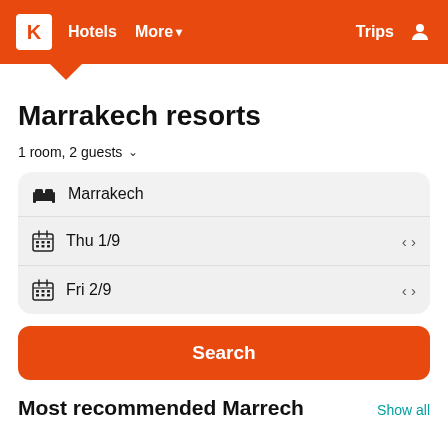K  Hotels  More ▾  Trips  👤
Marrakech resorts
1 room, 2 guests  ˅
Marrakech
Thu 1/9
Fri 2/9
Search
Most recommended Marrech